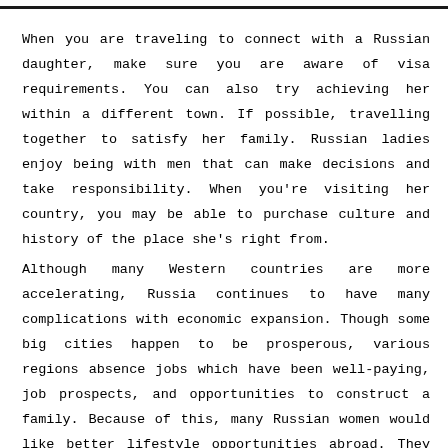When you are traveling to connect with a Russian daughter, make sure you are aware of visa requirements. You can also try achieving her within a different town. If possible, travelling together to satisfy her family. Russian ladies enjoy being with men that can make decisions and take responsibility. When you're visiting her country, you may be able to purchase culture and history of the place she's right from.
Although many Western countries are more accelerating, Russia continues to have many complications with economic expansion. Though some big cities happen to be prosperous, various regions absence jobs which have been well-paying, job prospects, and opportunities to construct a family. Because of this, many Russian women would like better lifestyle opportunities abroad. They want a man who will be described as a strong support system your kids. The